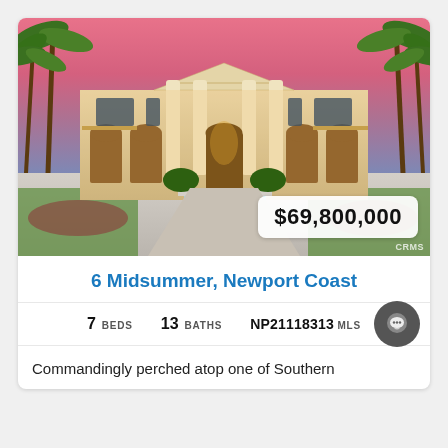[Figure (photo): Luxury mansion with classical columns, illuminated facade, palm trees, and pool/fountain at sunset with pink/purple sky. Price badge showing $69,800,000 in bottom right corner.]
6 Midsummer, Newport Coast
7 BEDS   13 BATHS   NP21118313 MLS
Commandingly perched atop one of Southern